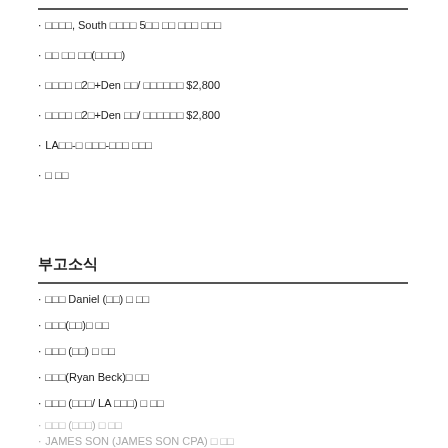□□□□, South □□□□ 5□□ □□ □□□ □□□
□□ □□ □□(□□□□)
□□□□ □2□+Den □□/ □□□□□□ $2,800
□□□□ □2□+Den □□/ □□□□□□ $2,800
LA□□-□ □□□-□□□ □□□
□ □□
부고소식
□□□ Daniel (□□) □ □□
□□□(□□)□ □□
□□□ (□□) □ □□
□□□(Ryan Beck)□ □□
□□□ (□□□/ LA □□□) □ □□
□□□ (□□□) □ □□
JAMES SON (JAMES SON CPA) □ □□